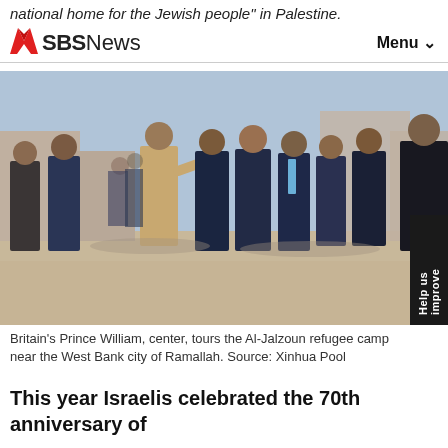national home for the Jewish people" in Palestine.
SBS News   Menu
[Figure (photo): Britain's Prince William, center, tours the Al-Jalzoun refugee camp near the West Bank city of Ramallah. A group of men in suits and security personnel walk together outdoors.]
Britain's Prince William, center, tours the Al-Jalzoun refugee camp near the West Bank city of Ramallah. Source: Xinhua Pool
This year Israelis celebrated the 70th anniversary of